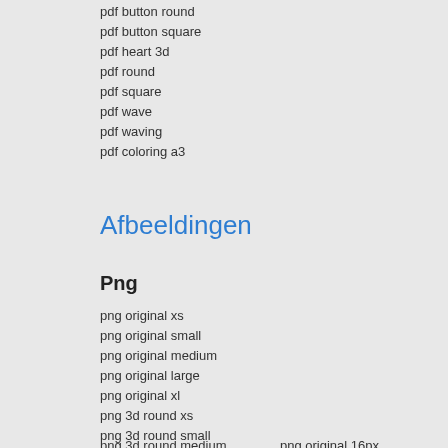pdf button round
pdf button square
pdf heart 3d
pdf round
pdf square
pdf wave
pdf waving
pdf coloring a3
Afbeeldingen
Png
png original xs
png original small
png original medium
png original large
png original xl
png 3d round xs
png 3d round small
png 3d round medium
png 3d round large
png original 16px
png original 32px